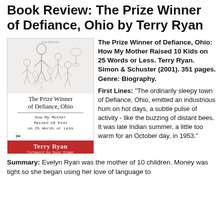Book Review: The Prize Winner of Defiance, Ohio by Terry Ryan
[Figure (photo): Book cover of 'The Prize Winner of Defiance, Ohio' by Terry Ryan. Shows a black and white family sketch on the cover, with the title in serif font, subtitle 'How My Mother Raised 10 Kids on 25 Words or Less' in monospace, a scissors icon, and a red author band at the bottom reading 'Terry Ryan / Foreword by Suze Orman'.]
The Prize Winner of Defiance, Ohio: How My Mother Raised 10 Kids on 25 Words or Less. Terry Ryan. Simon & Schuster (2001). 351 pages. Genre: Biography.
First Lines: "The ordinarily sleepy town of Defiance, Ohio, emitted an industrious hum on hot days, a subtle pulse of activity - like the buzzing of distant bees. It was late Indian summer, a little too warm for an October day, in 1953."
Summary: Evelyn Ryan was the mother of 10 children. Money was tight so she began using her love of language to